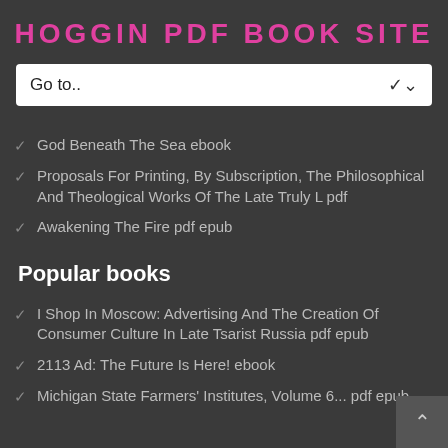HOGGIN PDF BOOK SITE
[Figure (screenshot): Dropdown navigation widget with 'Go to..' placeholder text and a chevron arrow on the right]
God Beneath The Sea ebook
Proposals For Printing, By Subscription, The Philosophical And Theological Works Of The Late Truly L pdf
Awakening The Fire pdf epub
Popular books
I Shop In Moscow: Advertising And The Creation Of Consumer Culture In Late Tsarist Russia pdf epub
2113 Ad: The Future Is Here! ebook
Michigan State Farmers' Institutes, Volume 6... pdf epub